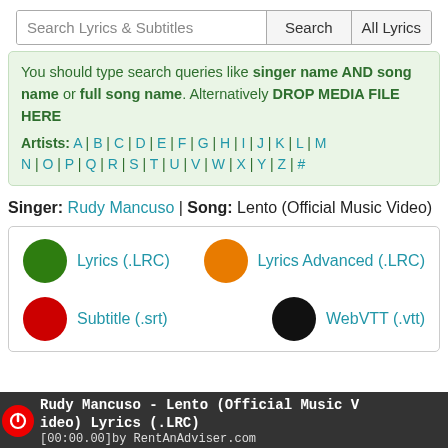[Figure (screenshot): Search bar with input field 'Search Lyrics & Subtitles', Search button, and All Lyrics button]
You should type search queries like singer name AND song name or full song name. Alternatively DROP MEDIA FILE HERE
Artists: A | B | C | D | E | F | G | H | I | J | K | L | M | N | O | P | Q | R | S | T | U | V | W | X | Y | Z | #
Singer: Rudy Mancuso | Song: Lento (Official Music Video)
[Figure (screenshot): Download options box with colored circles: green Lyrics (.LRC), orange Lyrics Advanced (.LRC), red Subtitle (.srt), black WebVTT (.vtt)]
Rudy Mancuso - Lento (Official Music Video) Lyrics (.LRC)
00:00.00]by RentAnAdviser.com